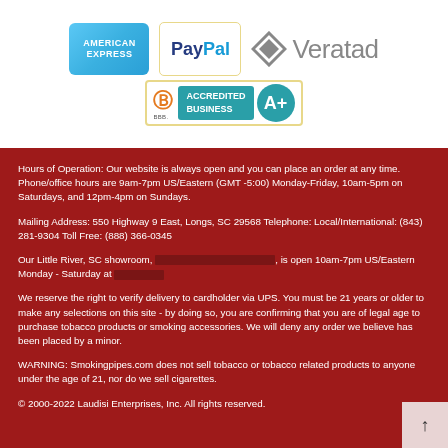[Figure (logo): American Express, PayPal, Veratad, and BBB Accredited Business A+ logos]
Hours of Operation: Our website is always open and you can place an order at any time. Phone/office hours are 9am-7pm US/Eastern (GMT -5:00) Monday-Friday, 10am-5pm on Saturdays, and 12pm-4pm on Sundays.
Mailing Address: 550 Highway 9 East, Longs, SC 29568 Telephone: Local/International: (843) 281-9304 Toll Free: (888) 366-0345
Our Little River, SC showroom, [redacted], is open 10am-7pm US/Eastern Monday - Saturday at
We reserve the right to verify delivery to cardholder via UPS. You must be 21 years or older to make any selections on this site - by doing so, you are confirming that you are of legal age to purchase tobacco products or smoking accessories. We will deny any order we believe has been placed by a minor.
WARNING: Smokingpipes.com does not sell tobacco or tobacco related products to anyone under the age of 21, nor do we sell cigarettes.
© 2000-2022 Laudisi Enterprises, Inc. All rights reserved.